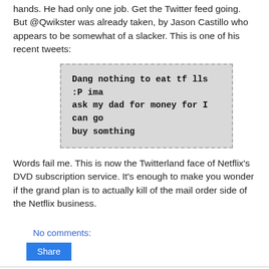hands. He had only one job. Get the Twitter feed going. But @Qwikster was already taken, by Jason Castillo who appears to be somewhat of a slacker. This is one of his recent tweets:
Dang nothing to eat tf lls :P ima ask my dad for money for I can go buy somthing
Words fail me. This is now the Twitterland face of Netflix's DVD subscription service. It's enough to make you wonder if the grand plan is to actually kill of the mail order side of the Netflix business.
No comments:
Share
Which browser sucks?